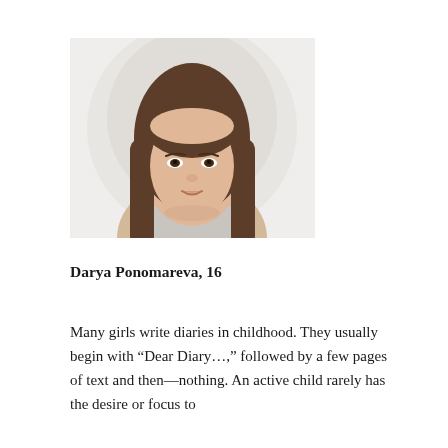[Figure (photo): Portrait photo of a teenage girl with long brown hair, smiling slightly, in front of a light circular background]
Darya Ponomareva, 16
Many girls write diaries in childhood. They usually begin with “Dear Diary…,” followed by a few pages of text and then—nothing. An active child rarely has the desire or focus to